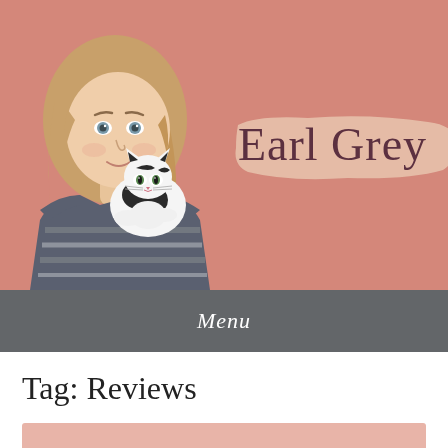[Figure (illustration): Blog header banner with salmon/dusty rose background. An illustrated portrait of a young woman with long blonde hair wearing a striped sweater, holding a black and white cat on her shoulder. To the right, the blog name 'Earl Grey' is written in cursive/script font over a peach brushstroke background element.]
Menu
Tag: Reviews
[Figure (other): Partial view of an article preview card with a salmon/peach background color, cropped at the bottom of the page.]